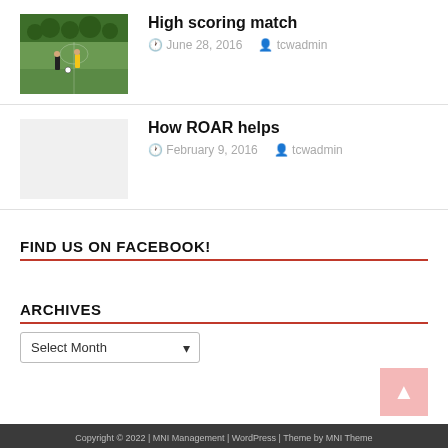[Figure (photo): Soccer match photo - players on a green grass field]
High scoring match
June 28, 2016  tcwadmin
[Figure (photo): Blank/empty thumbnail placeholder]
How ROAR helps
February 9, 2016  tcwadmin
FIND US ON FACEBOOK!
ARCHIVES
Select Month
Copyright © 2022 | MNI Management | WordPress | Theme by MNI Theme